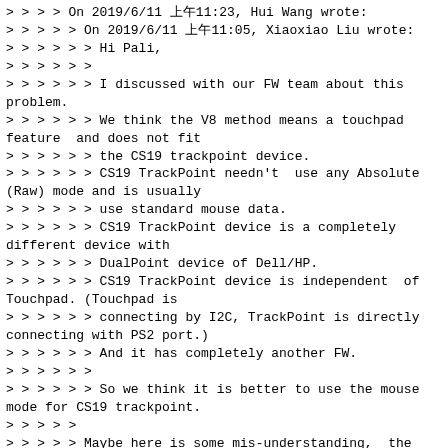> > > > On 2019/6/11 上午11:23, Hui Wang wrote:
> > > > > On 2019/6/11 上午11:05, Xiaoxiao Liu wrote:
> > > > > > Hi Pali,
> > > > > >
> > > > > > I discussed with our FW team about this problem.
> > > > > > We think the V8 method means a touchpad feature  and does not fit
> > > > > > the CS19 trackpoint device.
> > > > > > CS19 TrackPoint needn't  use any Absolute (Raw) mode and is usually
> > > > > > use standard mouse data.
> > > > > > CS19 TrackPoint device is a completely different device with
> > > > > > DualPoint device of Dell/HP.
> > > > > > CS19 TrackPoint device is independent  of Touchpad. (Touchpad is
> > > > > > connecting by I2C, TrackPoint is directly connecting with PS2 port.)
> > > > > > And it has completely another FW.
> > > > > >
> > > > > > So we think it is better to use the mouse mode for CS19 trackpoint.
> > > > >
> > > > > Maybe here is some mis-understanding,  the mouse mode here doesn't mean
> > > > > we use psmouse-base.c for cs19 (bare ps/2 mouse), we plan to use
> > > > > trackpoint.c to drive this HW, so this trackpoint has all features a